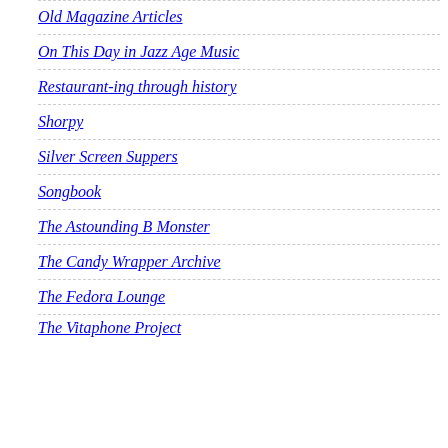Old Magazine Articles
On This Day in Jazz Age Music
Restaurant-ing through history
Shorpy
Silver Screen Suppers
Songbook
The Astounding B Monster
The Candy Wrapper Archive
The Fedora Lounge
The Vitaphone Project